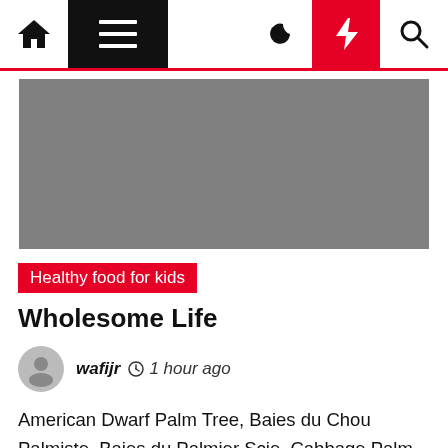Navigation bar with home, menu, moon, lightning, and search icons
[Figure (photo): Gray hero image placeholder]
Healthy food for kids
Wholesome Life
wafijr  1 hour ago
American Dwarf Palm Tree, Baies du Chou Palmiste, Baies du Palmier Scie, Cabbage Palm, Chou Palmiste, Ju-Zhong, Palma Enana Americana, Palmier de Floride, Palmier Nain, Palmier Nain Américain, Palmier Scie, Sabal, Sabal Fructus, Sabal serrulata, Saw Palmetto Berry, Serenoa repens, Serenoa serrulata, Block